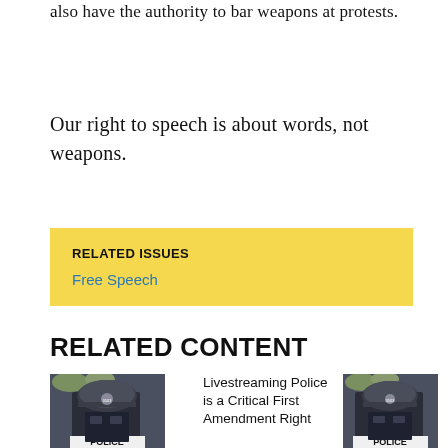also have the authority to bar weapons at protests.
Our right to speech is about words, not weapons.
RELATED ISSUES
Free Speech
RELATED CONTENT
[Figure (photo): Police officer seen from behind wearing helmet and POLICE vest]
Livestreaming Police is a Critical First Amendment Right
[Figure (photo): Police officer seen from behind wearing helmet and POLICE vest (second image)]